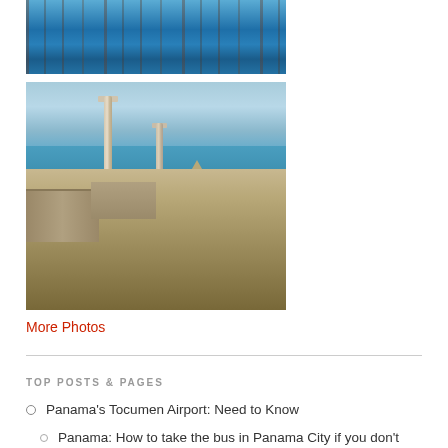[Figure (photo): Blue water with reflections of pillars or posts, viewed from above]
[Figure (photo): Ancient ruins with stone columns overlooking the sea, with arches and stone walls in the foreground]
More Photos
TOP POSTS & PAGES
Panama's Tocumen Airport: Need to Know
Panama: How to take the bus in Panama City if you don't speak Spanish